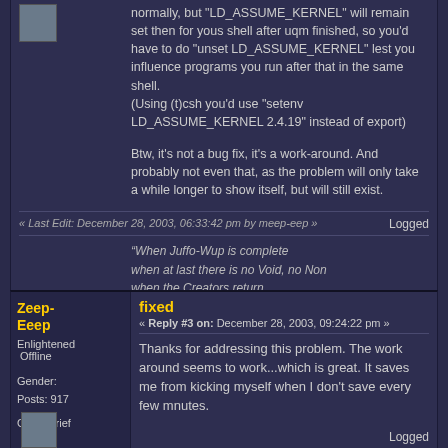normally, but "LD_ASSUME_KERNEL" will remain set then for yous shell after uqm finished, so you'd have to do "unset LD_ASSUME_KERNEL" lest you influence programs you run after that in the same shell.
(Using (t)csh you'd use "setenv LD_ASSUME_KERNEL 2.4.19" instead of export)
Btw, it's not a bug fix, it's a work-around. And probably not even that, as the problem will only take a while longer to show itself, but will still exist.
« Last Edit: December 28, 2003, 06:33:42 pm by meep-eep »
Logged
“When Juffo-Wup is complete
when at last there is no Void, no Non
when the Creators return
then we can finally rest.”
Zeep-Eeep
Enlightened Offline
Gender:
Posts: 917
Good Grief
fixed
« Reply #3 on: December 28, 2003, 09:24:22 pm »
Thanks for addressing this problem. The work around seems to work...which is great. It saves me from kicking myself when I don't save every few mnutes.
Logged